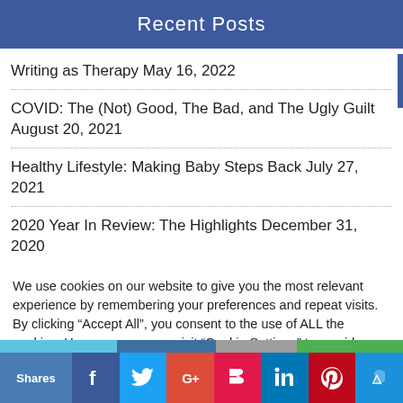Recent Posts
Writing as Therapy May 16, 2022
COVID: The (Not) Good, The Bad, and The Ugly Guilt August 20, 2021
Healthy Lifestyle: Making Baby Steps Back July 27, 2021
2020 Year In Review: The Highlights December 31, 2020
We use cookies on our website to give you the most relevant experience by remembering your preferences and repeat visits. By clicking “Accept All”, you consent to the use of ALL the cookies. However, you may visit "Cookie Settings" to provide a controlled consent.
Shares | Facebook | Twitter | Google+ | Flipboard | LinkedIn | Pinterest | SU